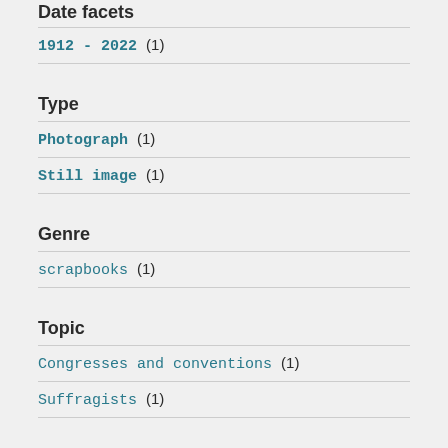Date facets
1912 - 2022 (1)
Type
Photograph (1)
Still image (1)
Genre
scrapbooks (1)
Topic
Congresses and conventions (1)
Suffragists (1)